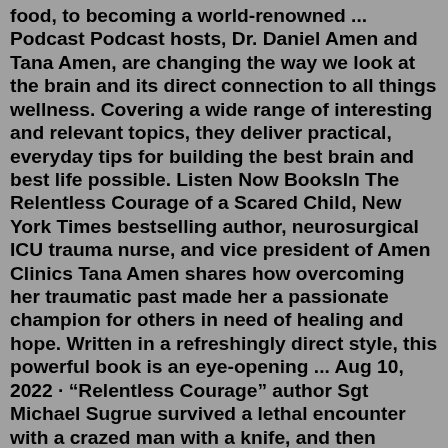food, to becoming a world-renowned ... Podcast Podcast hosts, Dr. Daniel Amen and Tana Amen, are changing the way we look at the brain and its direct connection to all things wellness. Covering a wide range of interesting and relevant topics, they deliver practical, everyday tips for building the best brain and best life possible. Listen Now BooksIn The Relentless Courage of a Scared Child, New York Times bestselling author, neurosurgical ICU trauma nurse, and vice president of Amen Clinics Tana Amen shares how overcoming her traumatic past made her a passionate champion for others in need of healing and hope. Written in a refreshingly direct style, this powerful book is an eye-opening ... Aug 10, 2022 · “Relentless Courage” author Sgt Michael Sugrue survived a lethal encounter with a crazed man with a knife, and then attacked in civil court - why qualified immunity is vital in police work. Badge Boys Relentless Courage tells his story so that other first responders can know they are not alone in their mental and emotional struggle. Doc Springer and